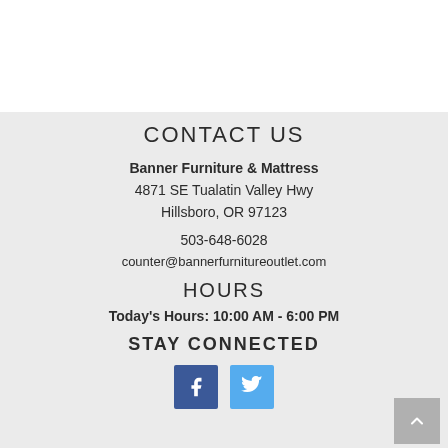CONTACT US
Banner Furniture & Mattress
4871 SE Tualatin Valley Hwy
Hillsboro, OR 97123
503-648-6028
counter@bannerfurnitureoutlet.com
HOURS
Today's Hours: 10:00 AM - 6:00 PM
STAY CONNECTED
[Figure (logo): Facebook and Twitter social media icons]